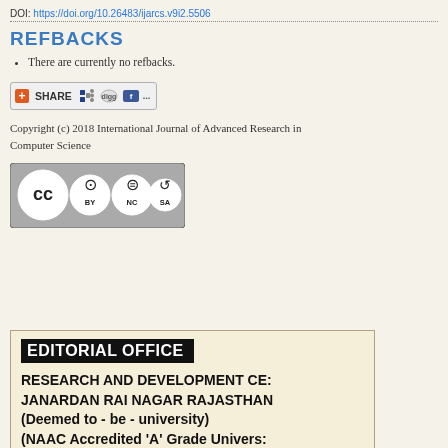DOI: https://doi.org/10.26483/ijarcs.v9i2.5506
REFBACKS
There are currently no refbacks.
[Figure (other): Share button with social media icons including del.icio.us, Digg, and Facebook]
Copyright (c) 2018 International Journal of Advanced Research in Computer Science
[Figure (logo): Creative Commons BY NC SA license badge]
EDITORIAL OFFICE
RESEARCH AND DEVELOPMENT CE: JANARDAN RAI NAGAR RAJASTHAN (Deemed to - be - university) (NAAC Accredited 'A' Grade Univers: